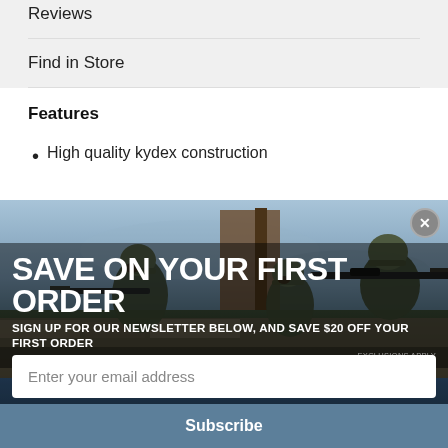Reviews
Find in Store
Features
High quality kydex construction
[Figure (photo): Military soldiers in camouflage gear aiming rifles over a stone wall, with a blue sky background. A promotional modal overlay with text 'SAVE ON YOUR FIRST ORDER' and newsletter signup.]
SAVE ON YOUR FIRST ORDER
SIGN UP FOR OUR NEWSLETTER BELOW, AND SAVE $20 OFF YOUR FIRST ORDER
EXCLUSIONS APPLY
Enter your email address
Subscribe